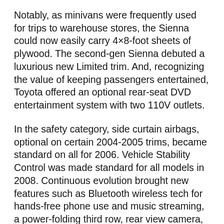Notably, as minivans were frequently used for trips to warehouse stores, the Sienna could now easily carry 4×8-foot sheets of plywood. The second-gen Sienna debuted a luxurious new Limited trim. And, recognizing the value of keeping passengers entertained, Toyota offered an optional rear-seat DVD entertainment system with two 110V outlets.
In the safety category, side curtain airbags, optional on certain 2004-2005 trims, became standard on all for 2006. Vehicle Stability Control was made standard for all models in 2008. Continuous evolution brought new features such as Bluetooth wireless tech for hands-free phone use and music streaming, a power-folding third row, rear view camera, rear parking sensors and navigation. For 2007, the Sienna received a 266-horsepower 3.5-litre V6.